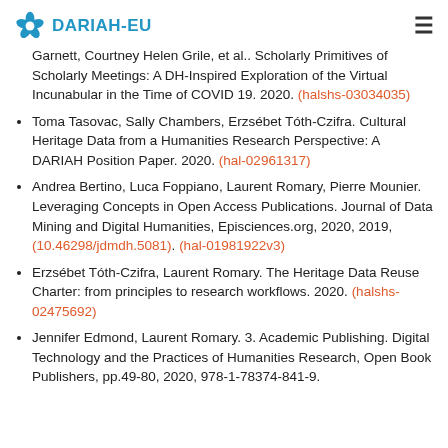DARIAH-EU
Garnett, Courtney Helen Grile, et al.. Scholarly Primitives of Scholarly Meetings: A DH-Inspired Exploration of the Virtual Incunabular in the Time of COVID 19. 2020. (halshs-03034035)
Toma Tasovac, Sally Chambers, Erzsébet Tóth-Czifra. Cultural Heritage Data from a Humanities Research Perspective: A DARIAH Position Paper. 2020. (hal-02961317)
Andrea Bertino, Luca Foppiano, Laurent Romary, Pierre Mounier. Leveraging Concepts in Open Access Publications. Journal of Data Mining and Digital Humanities, Episciences.org, 2020, 2019, (10.46298/jdmdh.5081). (hal-01981922v3)
Erzsébet Tóth-Czifra, Laurent Romary. The Heritage Data Reuse Charter: from principles to research workflows. 2020. (halshs-02475692)
Jennifer Edmond, Laurent Romary. 3. Academic Publishing. Digital Technology and the Practices of Humanities Research, Open Book Publishers, pp.49-80, 2020, 978-1-78374-841-9.